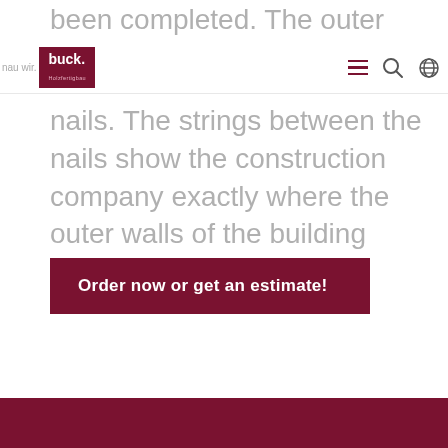been completed. The outer edges of the
nau wir. buck. [logo] [hamburger menu] [search] [globe]
nails. The strings between the nails show the construction company exactly where the outer walls of the building should be.
Order now or get an estimate!